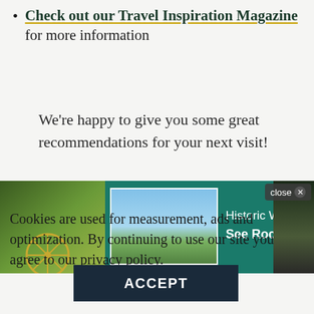Check out our Travel Inspiration Magazine for more information
We're happy to give you some great recommendations for your next visit!
[Figure (screenshot): Advertisement banner for See Rock City with teal background, scenic thumbnail image, close button, and text: Historic Wonders, Gardens, Views. See Rock City ›]
Cookies are used for measurement, ads and optimization. By continuing to use our site you agree to our privacy policy.
ACCEPT